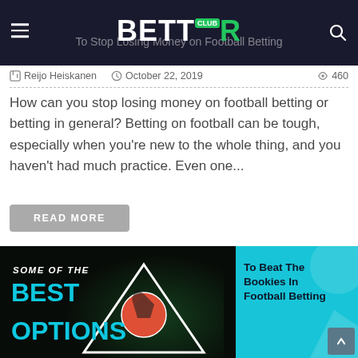BETT CLUB OR — To Stop Losing Money on Football Betting
Reijo Heiskanen  October 22, 2019  460
How can you stop losing money on football betting or betting in general? Betting on football can be tough, especially when you're new to the whole thing, and you haven't had much practice. Even one...
READ MORE
[Figure (illustration): Promotional banner with dark background on the left showing text 'SOME OF THE BEST OPTIONS' in teal/cyan uppercase letters with italic 'SOME OF THE' in white, a colorful football (soccer ball) with splash effect and triangle graphic in the center, and a teal background on the right with text 'To Beat The Bookies In Football Betting' in dark bold text.]